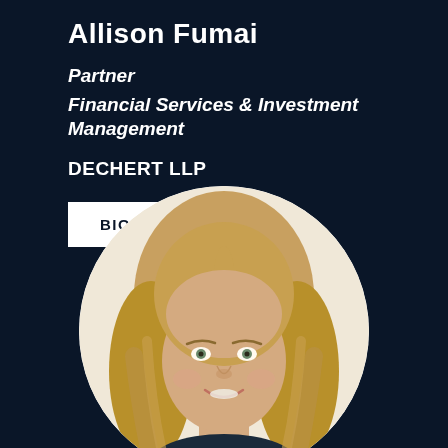Allison Fumai
Partner
Financial Services & Investment Management
DECHERT LLP
BIO
[Figure (photo): Headshot of Allison Fumai, a woman with long blonde hair, smiling, displayed in a circular crop on a dark navy background]